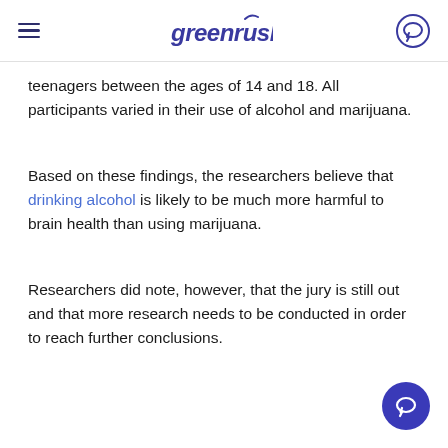greenrush
teenagers between the ages of 14 and 18. All participants varied in their use of alcohol and marijuana.
Based on these findings, the researchers believe that drinking alcohol is likely to be much more harmful to brain health than using marijuana.
Researchers did note, however, that the jury is still out and that more research needs to be conducted in order to reach further conclusions.